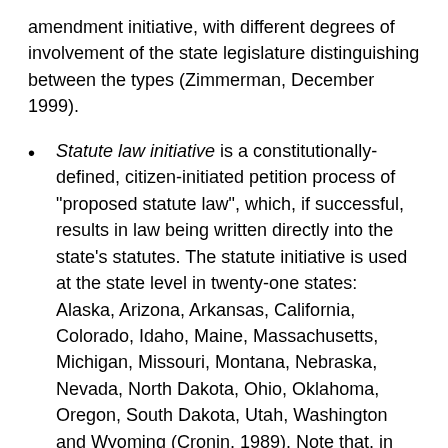amendment initiative, with different degrees of involvement of the state legislature distinguishing between the types (Zimmerman, December 1999).
Statute law initiative is a constitutionally-defined, citizen-initiated petition process of "proposed statute law", which, if successful, results in law being written directly into the state's statutes. The statute initiative is used at the state level in twenty-one states: Alaska, Arizona, Arkansas, California, Colorado, Idaho, Maine, Massachusetts, Michigan, Missouri, Montana, Nebraska, Nevada, North Dakota, Ohio, Oklahoma, Oregon, South Dakota, Utah, Washington and Wyoming (Cronin, 1989). Note that, in Utah, there is no constitutional provision for citizen lawmaking. All of Utah's I&R law is in the state statutes (Zimmerman, December 1999). In most states, there is no special protection for citizen-made statutes; the legislature can begin to amend them immediately.